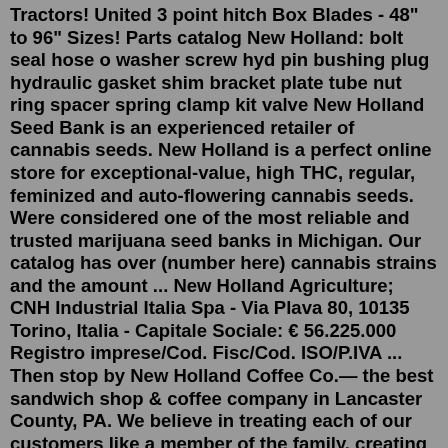Tractors! United 3 point hitch Box Blades - 48" to 96" Sizes! Parts catalog New Holland: bolt seal hose o washer screw hyd pin bushing plug hydraulic gasket shim bracket plate tube nut ring spacer spring clamp kit valve New Holland Seed Bank is an experienced retailer of cannabis seeds. New Holland is a perfect online store for exceptional-value, high THC, regular, feminized and auto-flowering cannabis seeds. Were considered one of the most reliable and trusted marijuana seed banks in Michigan. Our catalog has over (number here) cannabis strains and the amount ... New Holland Agriculture; CNH Industrial Italia Spa - Via Plava 80, 10135 Torino, Italia - Capitale Sociale: € 56.225.000 Registro imprese/Cod. Fisc/Cod. ISO/P.IVA ... Then stop by New Holland Coffee Co.— the best sandwich shop & coffee company in Lancaster County, PA. We believe in treating each of our customers like a member of the family, creating an atmosphere where friends can bond over great conversation and great coffee. To learn more, visit our contact page to find one of our locations or order